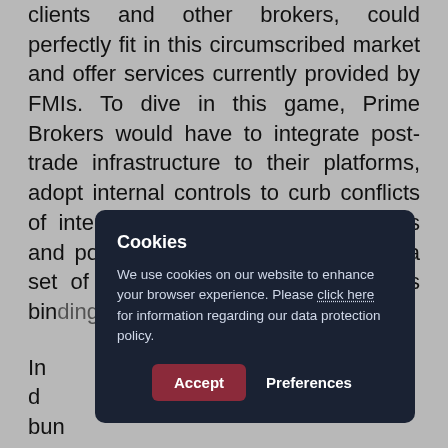clients and other brokers, could perfectly fit in this circumscribed market and offer services currently provided by FMIs. To dive in this game, Prime Brokers would have to integrate post-trade infrastructure to their platforms, adopt internal controls to curb conflicts of interest, allow traceability of trades and post-trade activities and enforce a set of common rules and procedures bin[ding all participants.]
In c[onclusion,] [regulato]ry bun[dles ...] a co[mplex framework that] ill ned[...] nt gov[ernance ...] sk ma[nagement ...] th numerous matters and (iii) efficient matching of buyers and seller at stock exchange prices
[Figure (other): Cookie consent dialog overlay on top of article text. Dark navy background box with title 'Cookies', body text 'We use cookies on our website to enhance your browser experience. Please click here for information regarding our data protection policy.' with 'click here' underlined. Two buttons: 'Accept' (dark red/maroon background) and 'Preferences' (white text, no background).]